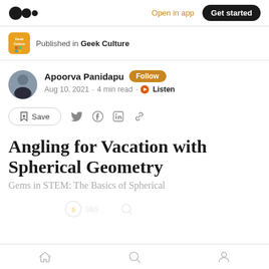Medium — Open in app | Get started
Published in Geek Culture
Apoorva Panidapu · Follow · Aug 10, 2021 · 4 min read · Listen
Save (share actions: Twitter, Facebook, LinkedIn, Link)
Angling for Vacation with Spherical Geometry
Gems in STEM: The Basics of Spherical
Home | Search | Profile